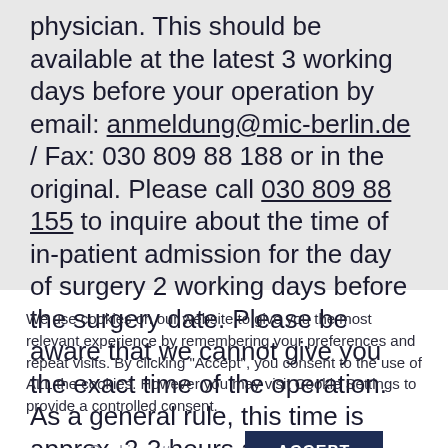physician. This should be available at the latest 3 working days before your operation by email: anmeldung@mic-berlin.de / Fax: 030 809 88 188 or in the original. Please call 030 809 88 155 to inquire about the time of in-patient admission for the day of surgery 2 working days before the surgery date. Please be aware that we cannot give you the exact time of the operation. As a general rule, this time is approx. 2-3 hours after admission. On the evening
We use cookies on our website to give you the most relevant experience by remembering your preferences and repeat visits. By clicking "Accept", you consent to the use of ALL the cookies. However you may visit Cookie Settings to provide a controlled consent.